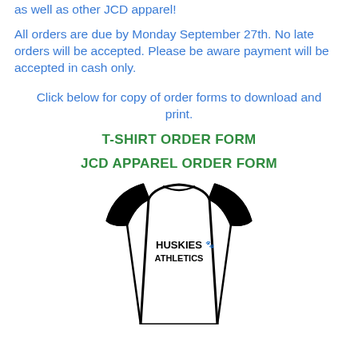as well as other JCD apparel!
All orders are due by Monday September 27th. No late orders will be accepted. Please be aware payment will be accepted in cash only.
Click below for copy of order forms to download and print.
T-SHIRT ORDER FORM
JCD APPAREL ORDER FORM
[Figure (illustration): Line drawing of a long-sleeve raglan baseball shirt with 'HUSKIES ATHLETICS' text and a small husky mascot graphic on the chest.]